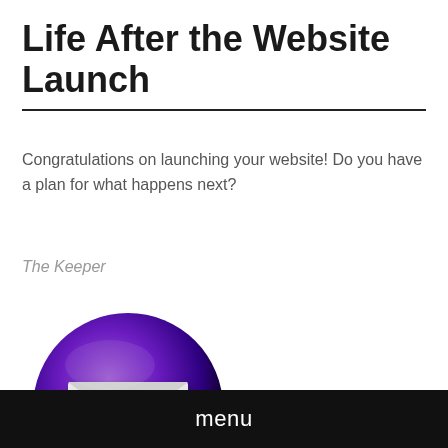Life After the Website Launch
Congratulations on launching your website! Do you have a plan for what happens next?
The Keeper
[Figure (illustration): A circular icon with a dark purple-to-black gradient background and a white envelope/mail icon in the center.]
menu